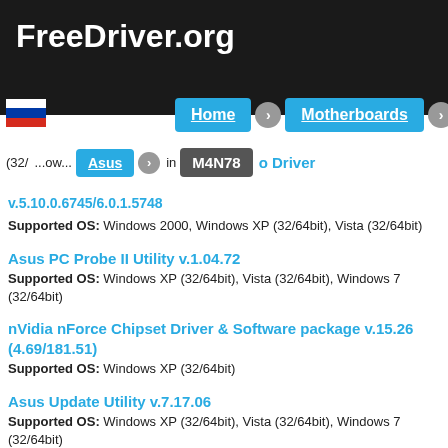FreeDriver.org
[Figure (logo): Russian flag icon]
Home > Motherboards
Asus > M4N78
(32/... ...ow... (... Realtek ... Audio Driver v.5.10.0.6745/6.0.1.5748
Supported OS: Windows 2000, Windows XP (32/64bit), Vista (32/64bit)
Asus PC Probe II Utility v.1.04.72
Supported OS: Windows XP (32/64bit), Vista (32/64bit), Windows 7 (32/64bit)
nVidia nForce Chipset Driver & Software package v.15.26 (4.69/181.51)
Supported OS: Windows XP (32/64bit)
Asus Update Utility v.7.17.06
Supported OS: Windows XP (32/64bit), Vista (32/64bit), Windows 7 (32/64bit)
Asus Express Gate Utility v.1.4.10.14
Supported OS: Windows XP (32/64bit), Vista (32/64bit), Windows 7 (32/64bit)